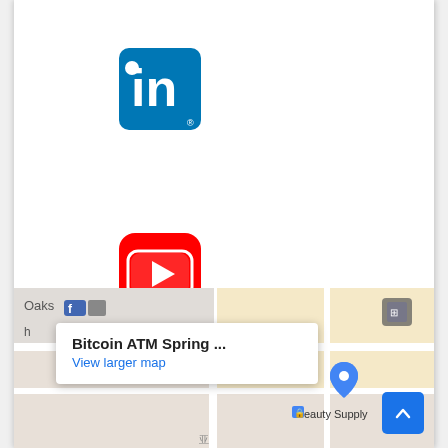[Figure (logo): LinkedIn logo — blue rounded square with white 'in' text]
[Figure (logo): YouTube logo — red rounded square with white play button]
[Figure (logo): Twitter logo — blue rounded square with white bird]
[Figure (screenshot): Google Maps embed showing 'Bitcoin ATM Spring ...' popup with 'View larger map' link and partial map view with Beauty Supply marker]